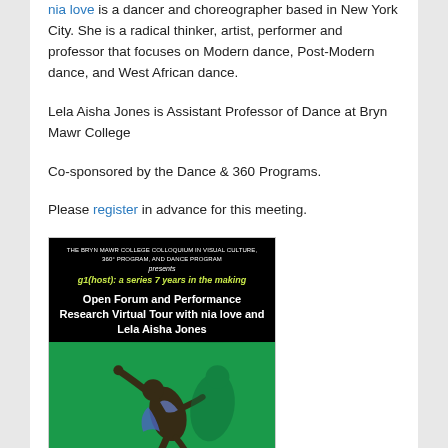nia love is a dancer and choreographer based in New York City. She is a radical thinker, artist, performer and professor that focuses on Modern dance, Post-Modern dance, and West African dance.
Lela Aisha Jones is Assistant Professor of Dance at Bryn Mawr College
Co-sponsored by the Dance & 360 Programs.
Please register in advance for this meeting.
[Figure (illustration): Event poster for 'g1(host): a series 7 years in the making' — Open Forum and Performance Research Virtual Tour with nia love and Lela Aisha Jones. Black background with green italic title text, white bold subtitle text, and a photo of a dancer on a green background.]